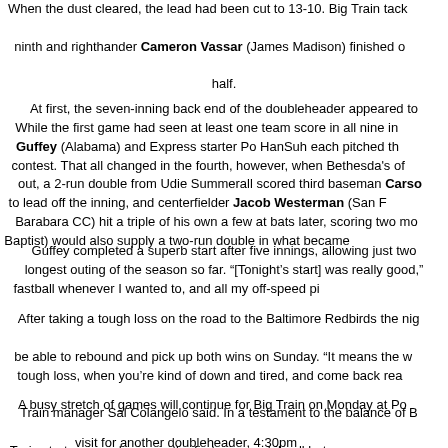When the dust cleared, the lead had been cut to 13-10. Big Train tacked on a run in the ninth and righthander Cameron Vassar (James Madison) finished off the second half.
At first, the seven-inning back end of the doubleheader appeared to be heading nowhere. While the first game had seen at least one team score in all nine innings, Big Train starter Guffey (Alabama) and Express starter Po HanSuh each pitched through the first three innings of this contest. That all changed in the fourth, however, when Bethesda's offense came to life. With two out, a 2-run double from Udie Summerall scored third baseman Carson Paige (Wake Forest), who had singled to lead off the inning, and centerfielder Jacob Westerman (San Francisco) and Santa Barabara CC) hit a triple of his own a few at bats later, scoring two more. Paige (Wake Baptist) would also supply a two-run double in what became a six-run fourth inning.
Guffey completed a superb start after five innings, allowing just two runs, in what was the longest outing of the season so far. "[Tonight's start] was really good," he said. "I located my fastball whenever I wanted to, and all my off-speed pitches were working."
After taking a tough loss on the road to the Baltimore Redbirds the night before, Big Train was able to rebound and pick up both wins on Sunday. "It means the world to us to come back after a tough loss, when you're kind of down and tired, and come back ready to play two games," Big Train manager Sal Colangelo said. In a testament to the balance of Big Train's lineup, every Big Train starter scored a run in the first game, while all but one drove in a run as well.
A busy stretch of games will continue for Big Train on Monday at Povich Field, as the Express visit for another doubleheader, 4:30pm and 7:00pm.